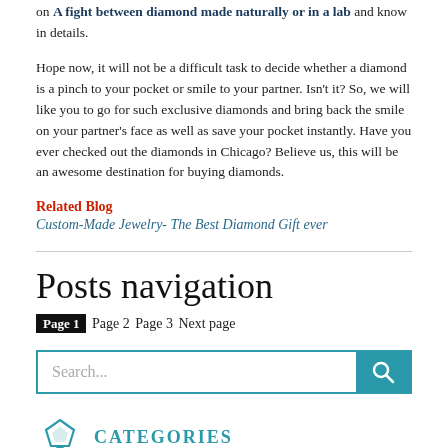on A fight between diamond made naturally or in a lab and know in details.
Hope now, it will not be a difficult task to decide whether a diamond is a pinch to your pocket or smile to your partner. Isn't it? So, we will like you to go for such exclusive diamonds and bring back the smile on your partner's face as well as save your pocket instantly. Have you ever checked out the diamonds in Chicago? Believe us, this will be an awesome destination for buying diamonds.
Related Blog
Custom-Made Jewelry- The Best Diamond Gift ever
Posts navigation
Page 1 Page 2 Page 3 Next page
[Figure (other): Search bar with teal search button and magnifying glass icon]
CATEGORIES